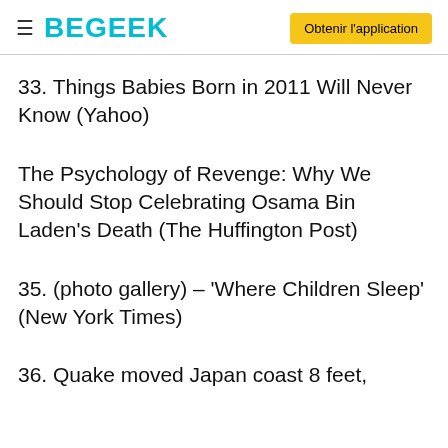BEGEEK | Obtenir l'application
33. Things Babies Born in 2011 Will Never Know (Yahoo)
The Psychology of Revenge: Why We Should Stop Celebrating Osama Bin Laden's Death (The Huffington Post)
35. (photo gallery) – 'Where Children Sleep' (New York Times)
36. Quake moved Japan coast 8 feet,